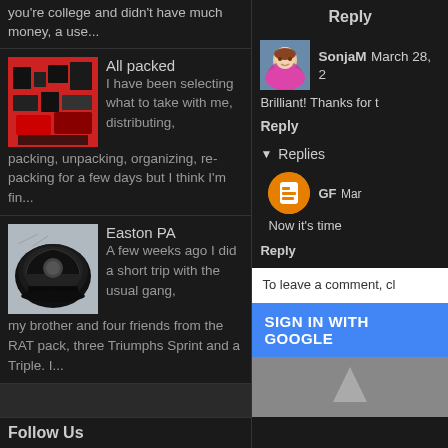you're college and didn't have much money, a use...
All packed
I have been selecting what to take with me, distributing, packing, unpacking, organizing, re-packing for a few days but I think I'm fin...
[Figure (photo): Thumbnail photo of packed items on a red floor/background]
Easton PA
A few weeks ago I did a short trip with the usual gang, my brother and four friends from the RAT pack, three Triumphs Sprint and a Triple. I...
[Figure (photo): Thumbnail photo of a black motorcycle helmet]
Follow Us
Reply
[Figure (photo): Avatar photo of SonjaM - woman with pink scarf]
SonjaM  March 28, 2
Brilliant! Thanks for t
Reply
Replies
GF  Mar
Now it's time
Reply
To leave a comment, cl
SIGN IN WITH GOOGLE